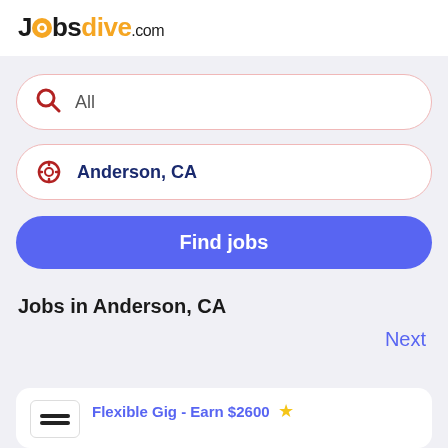Jobsdive.com
All
Anderson, CA
Find jobs
Jobs in Anderson, CA
Next
Flexible Gig - Earn $2600